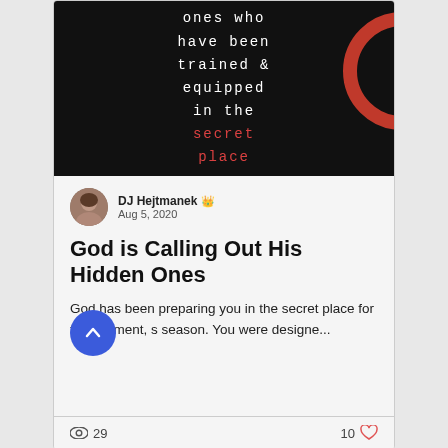[Figure (illustration): Dark background hero image with white monospaced text reading 'ones who have been trained & equipped in the' and red text reading 'secret place', with a partial red circle graphic on the right]
DJ Hejtmanek  Aug 5, 2020
God is Calling Out His Hidden Ones
God has been preparing you in the secret place for this moment, s season. You were designe...
29  10